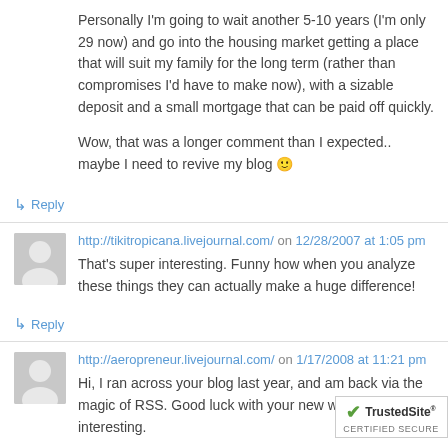Personally I'm going to wait another 5-10 years (I'm only 29 now) and go into the housing market getting a place that will suit my family for the long term (rather than compromises I'd have to make now), with a sizable deposit and a small mortgage that can be paid off quickly.
Wow, that was a longer comment than I expected.. maybe I need to revive my blog 🙂
↳ Reply
http://tikitropicana.livejournal.com/ on 12/28/2007 at 1:05 pm
That's super interesting. Funny how when you analyze these things they can actually make a huge difference!
↳ Reply
http://aeropreneur.livejournal.com/ on 1/17/2008 at 11:21 pm
Hi, I ran across your blog last year, and am back via the magic of RSS. Good luck with your new website, i interesting.